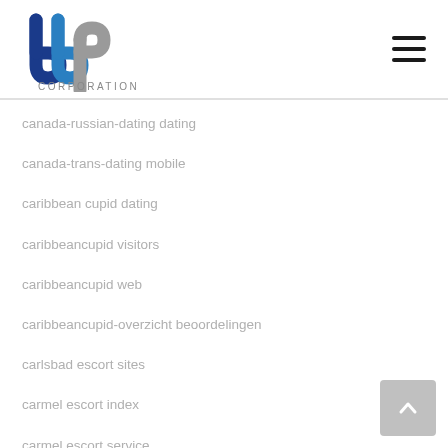[Figure (logo): BBP Corporation logo with blue and grey interlocking letters and 'CORPORATION' text below]
canada-russian-dating dating
canada-trans-dating mobile
caribbean cupid dating
caribbeancupid visitors
caribbeancupid web
caribbeancupid-overzicht beoordelingen
carlsbad escort sites
carmel escort index
carmel escort service
carrollton escort index